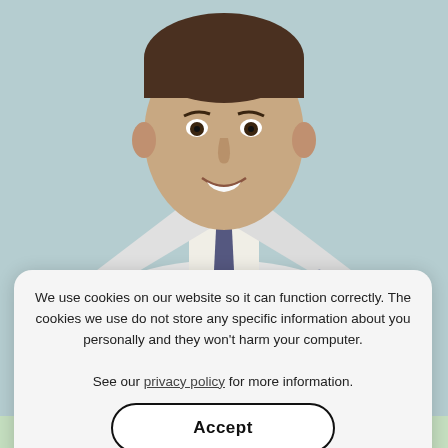[Figure (photo): Professional headshot of Dr. Terry A. Siller, M.D., wearing a white medical coat with a navy patterned tie, smiling, against a light blue-gray background. His name tag reads 'Terry A. Siller M.D. Orthopedic S...']
TERRY A. SILLER, M.D.
We use cookies on our website so it can function correctly. The cookies we use do not store any specific information about you personally and they won't harm your computer.

See our privacy policy for more information.
Accept